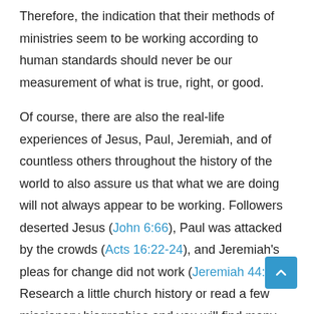Therefore, the indication that their methods of ministries seem to be working according to human standards should never be our measurement of what is true, right, or good.
Of course, there are also the real-life experiences of Jesus, Paul, Jeremiah, and of countless others throughout the history of the world to also assure us that what we are doing will not always appear to be working. Followers deserted Jesus (John 6:66), Paul was attacked by the crowds (Acts 16:22-24), and Jeremiah's pleas for change did not work (Jeremiah 44:4-5). Research a little church history or read a few missionary biographies and you will find many more examples of this.
So should we judge whether or not something is true, right, or good by if it is working? Should we determine our own course of action or ministry by how it appears to be working?
I hope I have convinced you that this isn't a good idea. This is a big topic that cannot really be wholly covered in a short blog post. But I